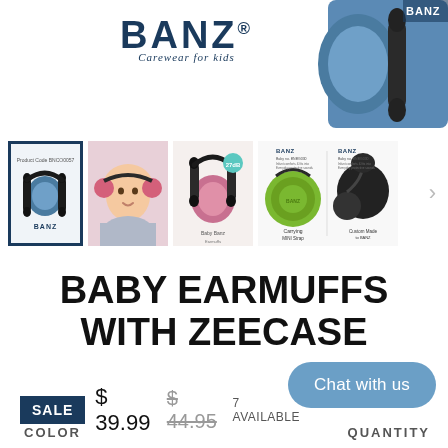[Figure (photo): BANZ logo with tagline 'Carewear for kids' and partial blue earmuff product photo at top right]
[Figure (photo): Thumbnail image strip showing: selected blue earmuff product, baby wearing pink earmuffs, pink/patterned earmuffs product shot, green carrying case, and BANZ branded case product detail. Arrow chevron at right.]
BABY EARMUFFS WITH ZEECASE
SALE  $ 39.99  $ 44.95  7 AVAILABLE
Chat with us
COLOR
QUANTITY